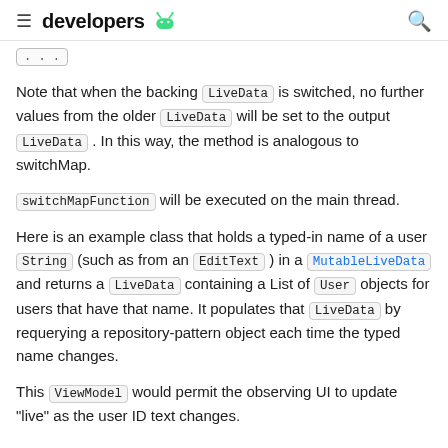≡  developers 🤖  🔍
Note that when the backing LiveData is switched, no further values from the older LiveData will be set to the output LiveData . In this way, the method is analogous to switchMap.
switchMapFunction will be executed on the main thread.
Here is an example class that holds a typed-in name of a user String (such as from an EditText ) in a MutableLiveData and returns a LiveData containing a List of User objects for users that have that name. It populates that LiveData by requerying a repository-pattern object each time the typed name changes.
This ViewModel would permit the observing UI to update "live" as the user ID text changes.